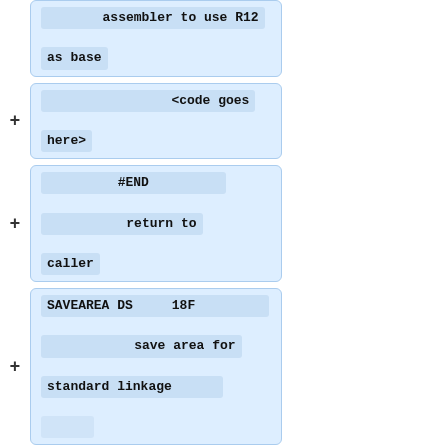assembler to use R12 as base
<code goes here>
#END
    return to caller
SAVEAREA DS     18F
    save area for standard linkage
<working storage goes here>
LITPOOL  LTORG
<constants get defined here>
END